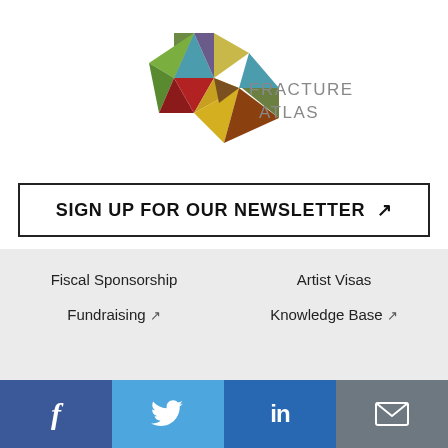[Figure (logo): Fractured Atlas logo — colorful geometric star made of triangles in red, teal, green, yellow, dark red, brown, purple, olive colors, with text FRACTURED ATLAS in grey to the right]
SIGN UP FOR OUR NEWSLETTER ↗
Fiscal Sponsorship
Artist Visas
Fundraising ↗
Knowledge Base ↗
[Figure (infographic): Social media bar with four buttons: Facebook (dark blue, f icon), Twitter (light blue, bird icon), LinkedIn (blue, in icon), Email (grey, envelope icon)]